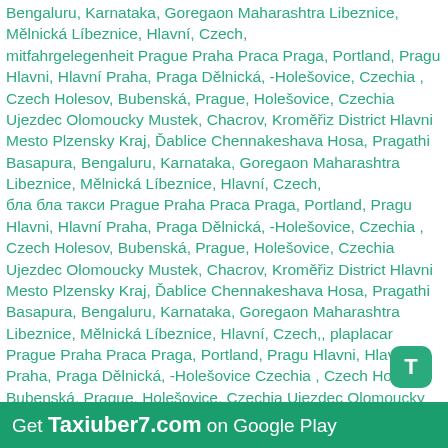Bengaluru, Karnataka, Goregaon Maharashtra Libeznice, Mělnická Líbeznice, Hlavní, Czech, mitfahrgelegenheit Prague Praha Praca Praga, Portland, Pragu Hlavni, Hlavní Praha, Praga Dělnická, -Holešovice, Czechia , Czech Holesov, Bubenská, Prague, Holešovice, Czechia Ujezdec Olomoucky Mustek, Chacrov, Kroměřiz District Hlavni Mesto Plzensky Kraj, Ďablice Chennakeshava Hosa, Pragathi Basapura, Bengaluru, Karnataka, Goregaon Maharashtra Libeznice, Mělnická Líbeznice, Hlavní, Czech, бла бла такси Prague Praha Praca Praga, Portland, Pragu Hlavni, Hlavní Praha, Praga Dělnická, -Holešovice, Czechia , Czech Holesov, Bubenská, Prague, Holešovice, Czechia Ujezdec Olomoucky Mustek, Chacrov, Kroměřiz District Hlavni Mesto Plzensky Kraj, Ďablice Chennakeshava Hosa, Pragathi Basapura, Bengaluru, Karnataka, Goregaon Maharashtra Libeznice, Mělnická Líbeznice, Hlavní, Czech,, plaplacar Prague Praha Praca Praga, Portland, Pragu Hlavni, Hlavní Praha, Praga Dělnická, -Holešovice Czechia , Czech Holesov, Bubenská, Prague, Holešovice, Czechia Ujezdec Olomoucky Mustek, Chacrov, Kroměřiz District Hlavni Mesto Plzensky Kraj, Ďablice Chennakeshava Hosa, Pra Basapura, Bengaluru, Karnataka, Goregaon Maharashtra Libeznice, Mělnická, Líbeznice, Hlavní, Czech, блаблатакси Prague Praha Praca Praga, Portland, Pragu Hlavni, Hlavní Praha, Praga Dělnická, -Holešovice, Czechia , Czech Holesov, Bubenská, Prague, Holešovice, Czechia Ujezdec
[Figure (other): Green app icon badge with letter T]
Get Taxiuber7.com on Google Play